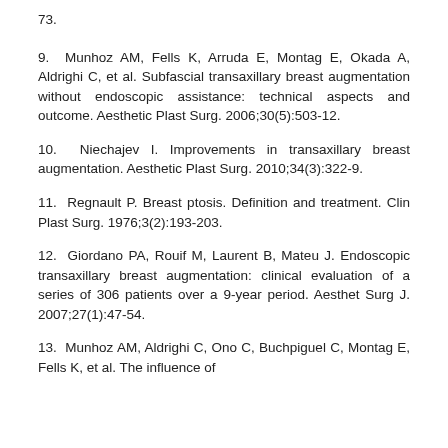73.
9. Munhoz AM, Fells K, Arruda E, Montag E, Okada A, Aldrighi C, et al. Subfascial transaxillary breast augmentation without endoscopic assistance: technical aspects and outcome. Aesthetic Plast Surg. 2006;30(5):503-12.
10. Niechajev I. Improvements in transaxillary breast augmentation. Aesthetic Plast Surg. 2010;34(3):322-9.
11. Regnault P. Breast ptosis. Definition and treatment. Clin Plast Surg. 1976;3(2):193-203.
12. Giordano PA, Rouif M, Laurent B, Mateu J. Endoscopic transaxillary breast augmentation: clinical evaluation of a series of 306 patients over a 9-year period. Aesthet Surg J. 2007;27(1):47-54.
13. Munhoz AM, Aldrighi C, Ono C, Buchpiguel C, Montag E, Fells K, et al. The influence of